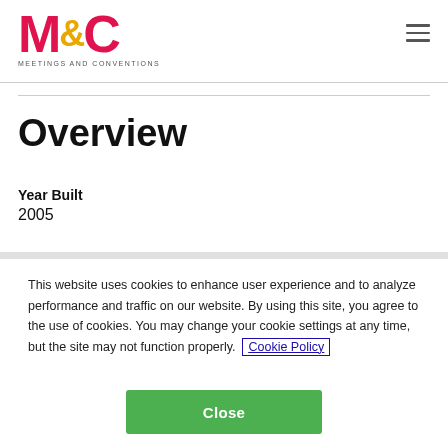M&C MEETINGS AND CONVENTIONS
Overview
Year Built
2005
This website uses cookies to enhance user experience and to analyze performance and traffic on our website. By using this site, you agree to the use of cookies. You may change your cookie settings at any time, but the site may not function properly. Cookie Policy
Close